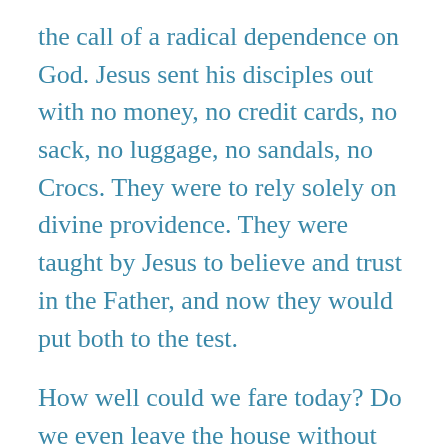the call of a radical dependence on God. Jesus sent his disciples out with no money, no credit cards, no sack, no luggage, no sandals, no Crocs. They were to rely solely on divine providence. They were taught by Jesus to believe and trust in the Father, and now they would put both to the test.
How well could we fare today? Do we even leave the house without our cell phones?
Jesus meets us and accepts as we are and where we are but calls us to go deeper, to